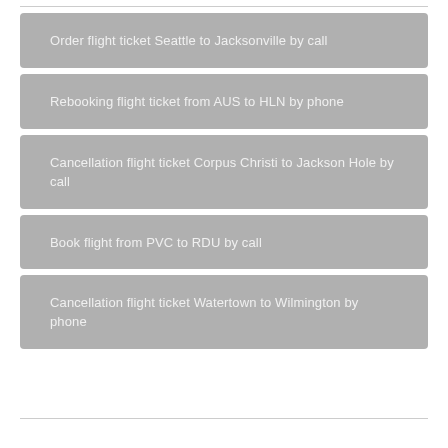Order flight ticket Seattle to Jacksonville by call
Rebooking flight ticket from AUS to HLN by phone
Cancellation flight ticket Corpus Christi to Jackson Hole by call
Book flight from PVC to RDU by call
Cancellation flight ticket Watertown to Wilmington by phone
Book ticket flight from MRI to CMI by call
Book flight ticket from ...